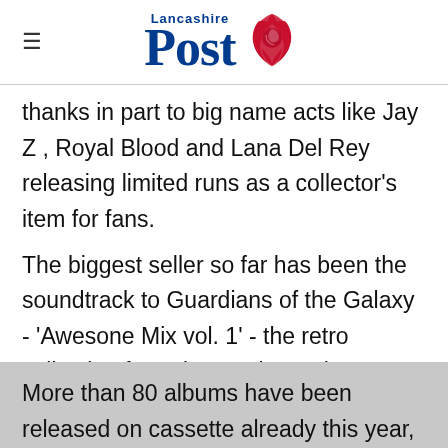Lancashire Post
thanks in part to big name acts like Jay Z , Royal Blood and Lana Del Rey releasing limited runs as a collector's item for fans.
The biggest seller so far has been the soundtrack to Guardians of the Galaxy - ‘Awesone Mix vol. 1’ - the retro collection featuring tracks such as ELO’s ‘Mr. Blue Sky’ and Fleetwood Mac’s ‘The Chain’. It has also sold more than 70,000 copies on vinyl.
More than 80 albums have been released on cassette already this year, leading to over